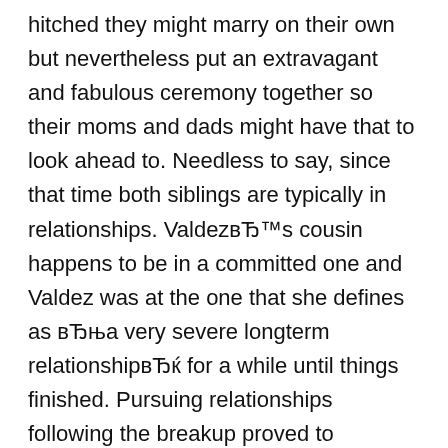hitched they might marry on their own but nevertheless put an extravagant and fabulous ceremony together so their moms and dads might have that to look ahead to. Needless to say, since that time both siblings are typically in relationships. ValdezвЂ™s cousin happens to be in a committed one and Valdez was at the one that she defines as вЂњa very severe longterm relationshipвЂќ for a while until things finished. Pursuing relationships following the breakup proved to however be rough, as Valdez describes вЂњdating since my break-up happens to be terrible.вЂќ